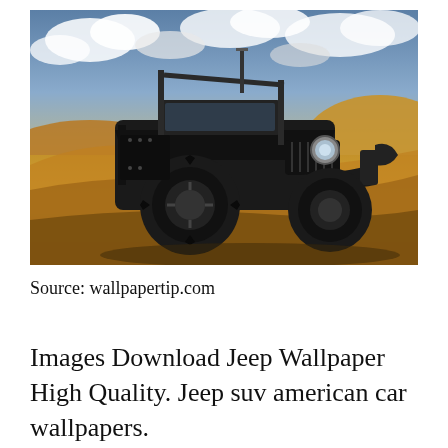[Figure (photo): A heavily customized black Jeep Wrangler with large off-road tires, roll cage, and roof-mounted antenna/equipment, parked on golden sand dunes under a dramatic cloudy sky.]
Source: wallpapertip.com
Images Download Jeep Wallpaper High Quality. Jeep suv american car wallpapers.